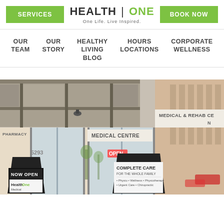[Figure (logo): Health One logo with tagline 'One Life. Live Inspired.']
SERVICES | BOOK NOW
OUR TEAM | OUR STORY | HEALTHY LIVING BLOG | HOURS LOCATIONS | CORPORATE WELLNESS
[Figure (photo): Exterior photo of Health One Medical Centre and Medical & Rehab Centre storefront. Signs visible: PHARMACY, MEDICAL CENTRE, MEDICAL & REHAB CENTRE, NOW OPEN, HealthOne, COMPLETE CARE FOR THE WHOLE FAMILY, OPEN neon sign, Do you have PAIN? - FREE CONSULT]